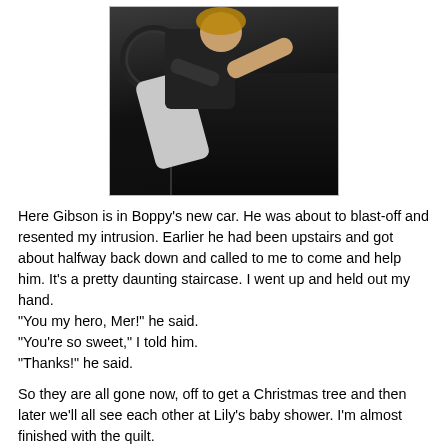[Figure (photo): A child sitting in the driver's seat of a car, reaching toward the steering wheel, wearing a dark hoodie and gray pants.]
Here Gibson is in Boppy's new car. He was about to blast-off and resented my intrusion. Earlier he had been upstairs and got about halfway back down and called to me to come and help him. It's a pretty daunting staircase. I went up and held out my hand.
"You my hero, Mer!" he said.
"You're so sweet," I told him.
"Thanks!" he said.
So they are all gone now, off to get a Christmas tree and then later we'll all see each other at Lily's baby shower. I'm almost finished with the quilt.